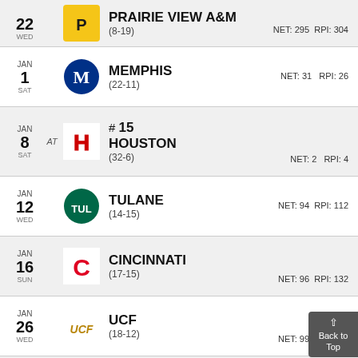22 WED | Prairie View A&M (8-19) | NET: 295 | RPI: 304
JAN 1 SAT | Memphis (22-11) | NET: 31 | RPI: 26
JAN 8 SAT AT | #15 Houston (32-6) | NET: 2 | RPI: 4
JAN 12 WED | Tulane (14-15) | NET: 94 | RPI: 112
JAN 16 SUN | Cincinnati (17-15) | NET: 96 | RPI: 132
JAN 26 WED | UCF (18-12) | NET: 99 | RPI: 118
JAN 29 SAT AT | Tulane (14-15) | NET: 94 | RPI: 112
FEB 1 TUE | Tulsa (11-20) | NET: 180 | RPI: 241